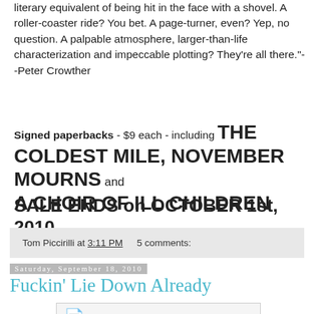literary equivalent of being hit in the face with a shovel. A roller-coaster ride? You bet. A page-turner, even? Yep, no question. A palpable atmosphere, larger-than-life characterization and impeccable plotting? They're all there."--Peter Crowther
Signed paperbacks - $9 each - including THE COLDEST MILE, NOVEMBER MOURNS and A CHOIR OF ILL CHILDREN
SALE ENDS on OCTOBER 1st, 2010
Tom Piccirilli at 3:11 PM   5 comments:
Saturday, September 18, 2010
Fuckin' Lie Down Already